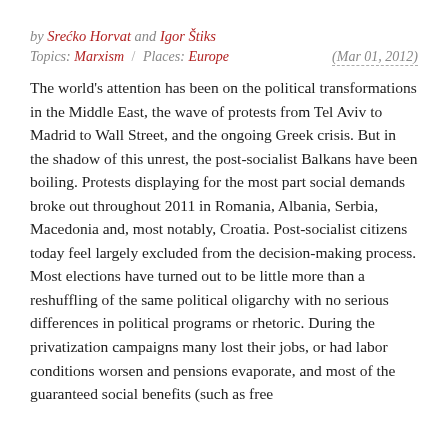by Srećko Horvat and Igor Štiks
Topics: Marxism / Places: Europe (Mar 01, 2012)
The world's attention has been on the political transformations in the Middle East, the wave of protests from Tel Aviv to Madrid to Wall Street, and the ongoing Greek crisis. But in the shadow of this unrest, the post-socialist Balkans have been boiling. Protests displaying for the most part social demands broke out throughout 2011 in Romania, Albania, Serbia, Macedonia and, most notably, Croatia. Post-socialist citizens today feel largely excluded from the decision-making process. Most elections have turned out to be little more than a reshuffling of the same political oligarchy with no serious differences in political programs or rhetoric. During the privatization campaigns many lost their jobs, or had labor conditions worsen and pensions evaporate, and most of the guaranteed social benefits (such as free